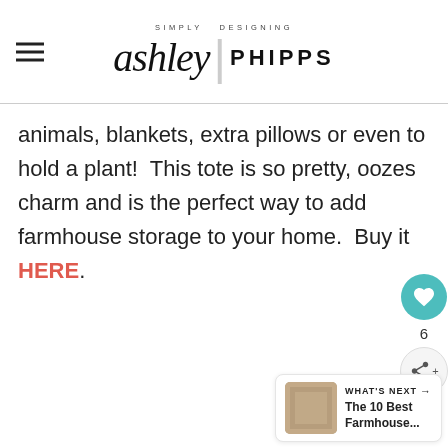SIMPLY DESIGNING ashley | PHIPPS
animals, blankets, extra pillows or even to hold a plant!  This tote is so pretty, oozes charm and is the perfect way to add farmhouse storage to your home.  Buy it HERE.